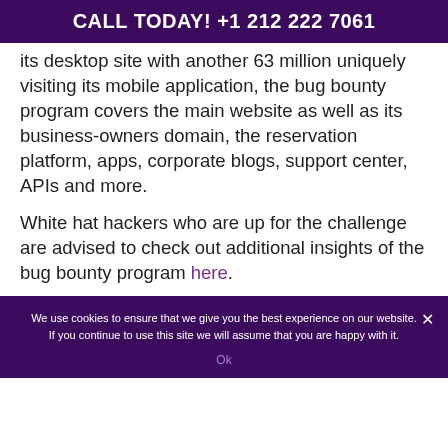CALL TODAY! +1 212 222 7061
its desktop site with another 63 million uniquely visiting its mobile application, the bug bounty program covers the main website as well as its business-owners domain, the reservation platform, apps, corporate blogs, support center, APIs and more.
White hat hackers who are up for the challenge are advised to check out additional insights of the bug bounty program here.
We use cookies to ensure that we give you the best experience on our website. If you continue to use this site we will assume that you are happy with it.
Ok